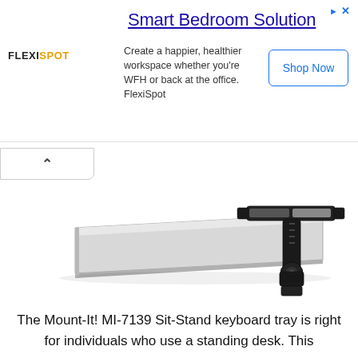[Figure (infographic): FlexiSpot advertisement banner with logo, title 'Smart Bedroom Solution', body text, and Shop Now button]
[Figure (photo): Mount-It! MI-7139 Sit-Stand keyboard tray mounted under a desk, showing the tray mechanism with black hardware]
The Mount-It! MI-7139 Sit-Stand keyboard tray is right for individuals who use a standing desk. This